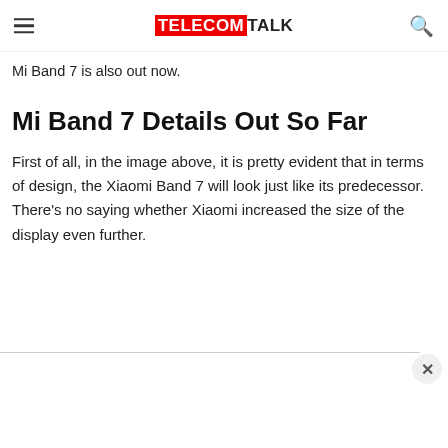TELECOMTALK
Mi Band 7 is also out now.
Mi Band 7 Details Out So Far
First of all, in the image above, it is pretty evident that in terms of design, the Xiaomi Band 7 will look just like its predecessor. There’s no saying whether Xiaomi increased the size of the display even further.